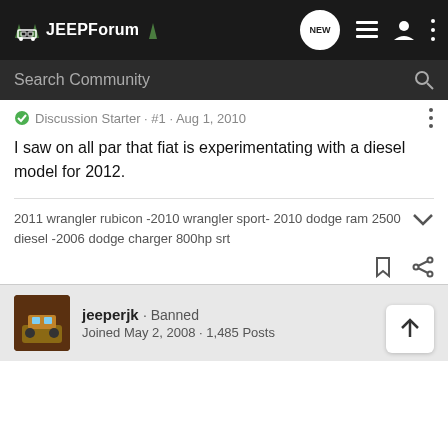JEEPForum
Search Community
Discussion Starter · #1 · Aug 1, 2010
I saw on all par that fiat is experimentating with a diesel model for 2012.
2011 wrangler rubicon -2010 wrangler sport- 2010 dodge ram 2500 diesel -2006 dodge charger 800hp srt
jeeperjk · Banned
Joined May 2, 2008 · 1,485 Posts